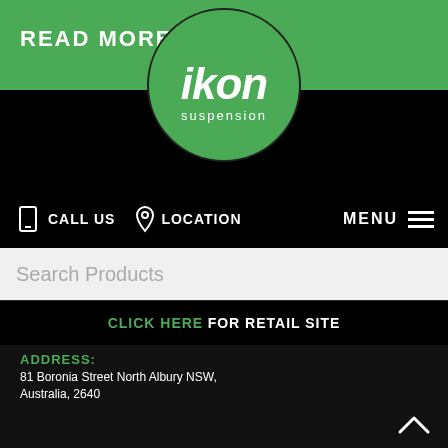[Figure (logo): Ikon Suspension logo: circular green badge with white italic bold 'ikon' text and 'suspension' below, overlapping a green bar and black band header]
READ MORE
CALL US  LOCATION  MENU
Search Products
CLICK HERE FOR RETAIL SITE
ADDRESS:
81 Boronia Street North Albury NSW, Australia, 2640
PHONE:
02 6040 9955
INTERNATIONAL:
+61 2 6040 9955
EMAIL: